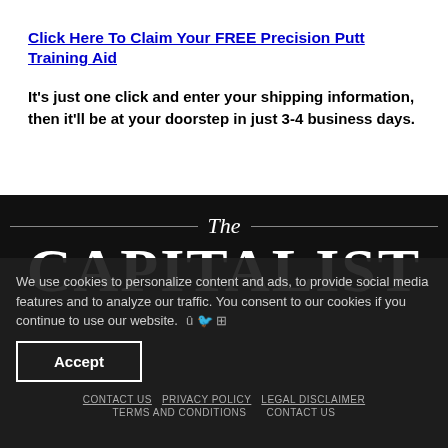Click Here To Claim Your FREE Precision Putt Training Aid
It's just one click and enter your shipping information, then it'll be at your doorstep in just 3-4 business days.
[Figure (logo): The Capitalist publication logo with decorative horizontal lines and large bold serif text reading CAPITALIST]
We use cookies to personalize content and ads, to provide social media features and to analyze our traffic. You consent to our cookies if you continue to use our website.
Accept
CONTACT US  PRIVACY POLICY  LEGAL DISCLAIMER  TERMS AND CONDITIONS  CONTACT US